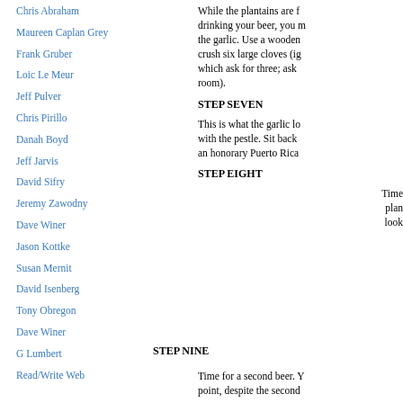Chris Abraham
Maureen Caplan Grey
Frank Gruber
Loic Le Meur
Jeff Pulver
Chris Pirillo
Danah Boyd
Jeff Jarvis
David Sifry
Jeremy Zawodny
Dave Winer
Jason Kottke
Susan Mernit
David Isenberg
Tony Obregon
Dave Winer
G Lumbert
Read/Write Web
While the plantains are f... drinking your beer, you m... the garlic. Use a wooden... crush six large cloves (ig... which ask for three; ask ... room).
STEP SEVEN
This is what the garlic lo... with the pestle. Sit back ... an honorary Puerto Rica...
STEP EIGHT
Time... plan... look...
STEP NINE
Time for a second beer. Y... point, despite the second...
STEP TEN